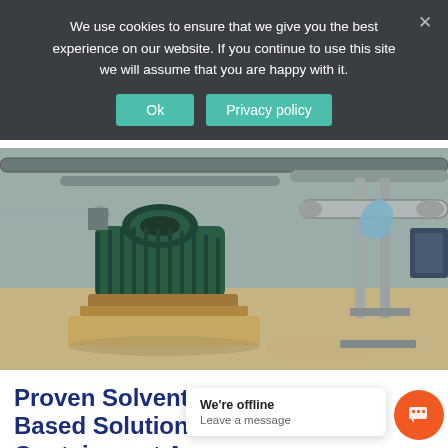We use cookies to ensure that we give you the best experience on our website. If you continue to use this site we will assume that you are happy with it.
[Figure (photo): Industrial pump room with green electric motor/pump assembly mounted on a concrete base, grey pipes and pipe supports, reflective epoxy-coated floor in beige/tan color.]
Proven Solvent Extended Epoxy Based Solutions for Bunds and Containment Areas